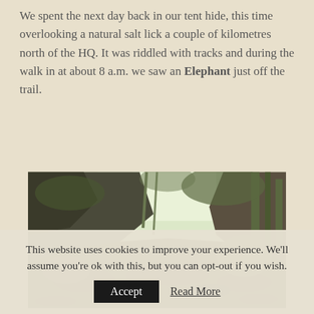We spent the next day back in our tent hide, this time overlooking a natural salt lick a couple of kilometres north of the HQ. It was riddled with tracks and during the walk in at about 8 a.m. we saw an Elephant just off the trail.
[Figure (photo): Photograph of a natural salt lick: a muddy, dark grey mineral deposit area surrounded by rocks and lush green bamboo and trees in a jungle setting.]
This website uses cookies to improve your experience. We'll assume you're ok with this, but you can opt-out if you wish.
Accept | Read More